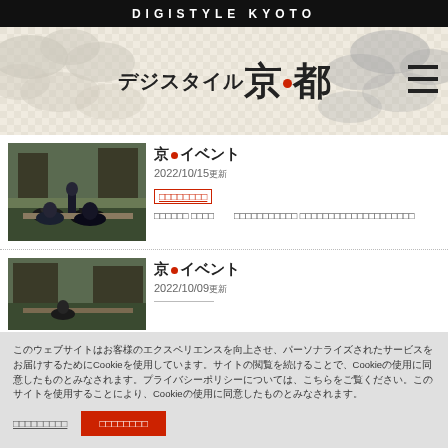DIGISTYLE KYOTO
[Figure (logo): Digistyle Kyoto logo with Japanese cloud pattern background and hamburger menu icon]
[Figure (photo): Photo of people sitting in traditional Japanese setting, viewed from behind]
京●イベント
2022/10/15更新
イベント情報
□□□□□□ □□□□　　□□□□□□□□□□□ □□□□□□□□□□□□□□□□□□□□
[Figure (photo): Photo of traditional Japanese building/temple setting]
京●イベント
2022/10/09更新
このウェブサイトはCookieを使用しています。Cookieについての詳細は、プライバシーポリシーをご覧ください。このサイトを使用することにより、Cookieの使用に同意したものとみなされます。
詳細を確認する
同意して閉じる